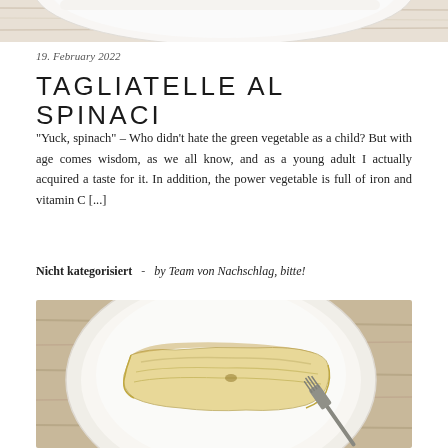[Figure (photo): Top portion of a food photo showing a white plate, cropped at top of page]
19. February 2022
TAGLIATELLE AL SPINACI
"Yuck, spinach" – Who didn't hate the green vegetable as a child? But with age comes wisdom, as we all know, and as a young adult I actually acquired a taste for it. In addition, the power vegetable is full of iron and vitamin C [...]
Nicht kategorisiert  -  by Team von Nachschlag, bitte!
[Figure (photo): Photo of a pale yellow pasta or food item on a white round plate with a fork visible at bottom right, placed on a wooden surface]